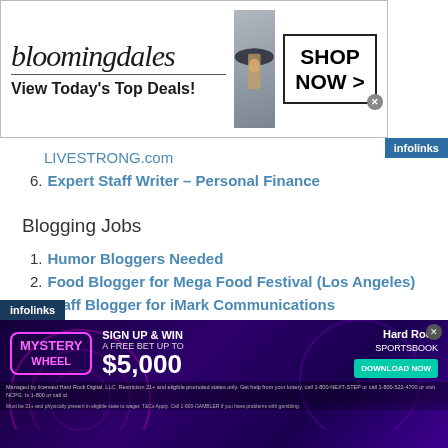[Figure (screenshot): Bloomingdales advertisement banner: logo, 'View Today's Top Deals!', model photo, 'SHOP NOW >' button]
LIVESTRONG.com
6. Expert Staff Writer – Personal Finance
Blogging Jobs
1. Humor Bloggers Needed
2. Food Blogger for Mega Food Festival (Los Angeles)
3. Staff Blogger for iMark Communications
4. LA Fashion/Shopping Blogger
[Figure (screenshot): Infolinks Hard Rock Sportsbook ad: Mystery Wheel, Sign Up & Win a Free Bet Up To $5,000, Download Now button]